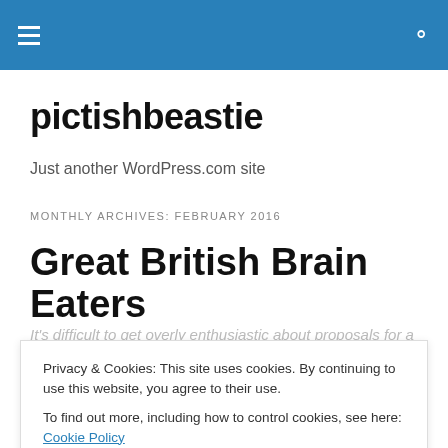pictishbeastie — navigation bar with hamburger menu and search icon
pictishbeastie
Just another WordPress.com site
MONTHLY ARCHIVES: FEBRUARY 2016
Great British Brain Eaters
It's difficult to get overly enthusiastic about proposals for a
Privacy & Cookies: This site uses cookies. By continuing to use this website, you agree to their use.
To find out more, including how to control cookies, see here: Cookie Policy
Close and accept
Source: Great British Brain Eaters